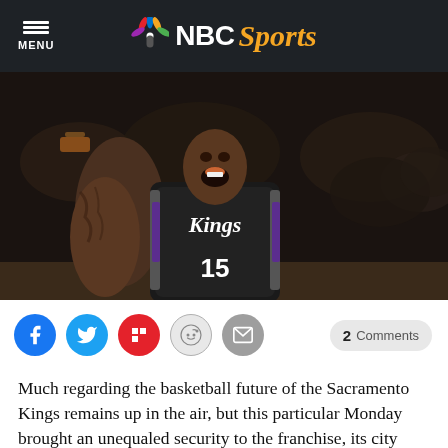NBC Sports
[Figure (photo): Sacramento Kings basketball player wearing jersey number 15 (Kings uniform), mouth open yelling/celebrating, heavily tattooed arm visible, crowd blurred in background.]
Much regarding the basketball future of the Sacramento Kings remains up in the air, but this particular Monday brought an unequaled security to the franchise, its city
Social share buttons: Facebook, Twitter, Flipboard, Reddit, Email. 2 Comments.